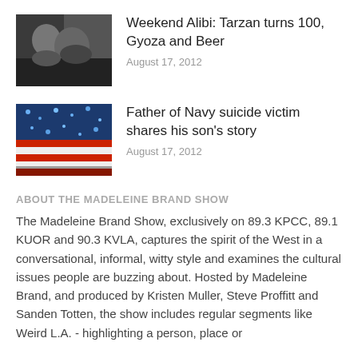[Figure (photo): Black and white photo of two people close together]
Weekend Alibi: Tarzan turns 100, Gyoza and Beer
August 17, 2012
[Figure (photo): Photo of American flags with blue and red colors, stadium or event setting]
Father of Navy suicide victim shares his son's story
August 17, 2012
ABOUT THE MADELEINE BRAND SHOW
The Madeleine Brand Show, exclusively on 89.3 KPCC, 89.1 KUOR and 90.3 KVLA, captures the spirit of the West in a conversational, informal, witty style and examines the cultural issues people are buzzing about. Hosted by Madeleine Brand, and produced by Kristen Muller, Steve Proffitt and Sanden Totten, the show includes regular segments like Weird L.A. - highlighting a person, place or